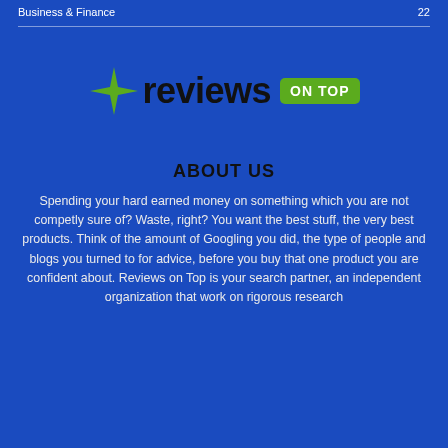Business & Finance  22
[Figure (logo): Reviews On Top logo: green four-pointed star followed by 'reviews' in dark text and 'ON TOP' in a green rounded rectangle badge]
ABOUT US
Spending your hard earned money on something which you are not competly sure of? Waste, right? You want the best stuff, the very best products. Think of the amount of Googling you did, the type of people and blogs you turned to for advice, before you buy that one product you are confident about. Reviews on Top is your search partner, an independent organization that work on rigorous research